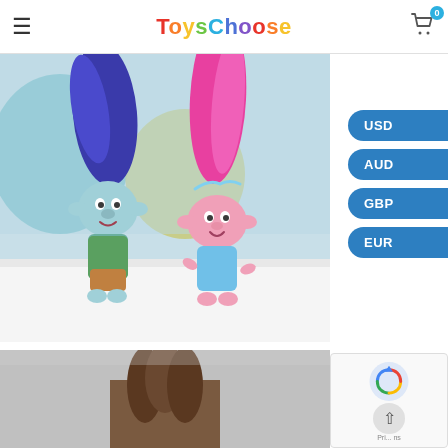ToysChoose
[Figure (photo): Two Trolls movie action figures: Branch (blue hair, light blue skin, green vest) and Poppy (pink hair, pink skin, blue dress) standing on a white surface with colorful cushions in the background]
USD
AUD
GBP
EUR
[Figure (photo): Partial view of another toy or doll product, only top of head visible at bottom of page]
[Figure (other): reCAPTCHA widget with Google logo and scroll-to-top arrow button, showing partial text 'Pri...' and 'ns']